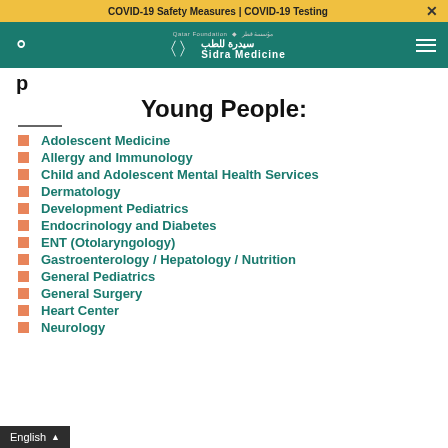COVID-19 Safety Measures | COVID-19 Testing
[Figure (logo): Sidra Medicine logo with Qatar Foundation branding on teal navigation bar]
Young People:
Adolescent Medicine
Allergy and Immunology
Child and Adolescent Mental Health Services
Dermatology
Development Pediatrics
Endocrinology and Diabetes
ENT (Otolaryngology)
Gastroenterology / Hepatology / Nutrition
General Pediatrics
General Surgery
Heart Center
Neurology
English